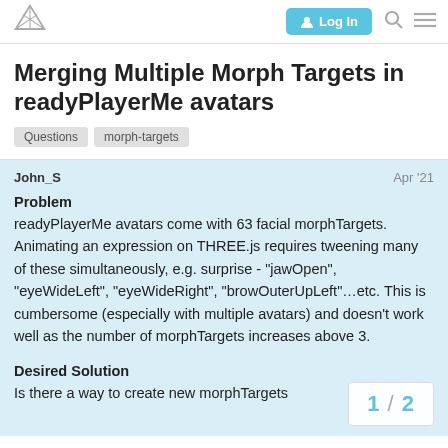Log In
Merging Multiple Morph Targets in readyPlayerMe avatars
Questions   morph-targets
John_S   Apr '21
Problem
readyPlayerMe avatars come with 63 facial morphTargets. Animating an expression on THREE.js requires tweening many of these simultaneously, e.g. surprise - "jawOpen", "eyeWideLeft", "eyeWideRight", "browOuterUpLeft"…etc. This is cumbersome (especially with multiple avatars) and doesn't work well as the number of morphTargets increases above 3.
Desired Solution
Is there a way to create new morphTargets
1 / 2